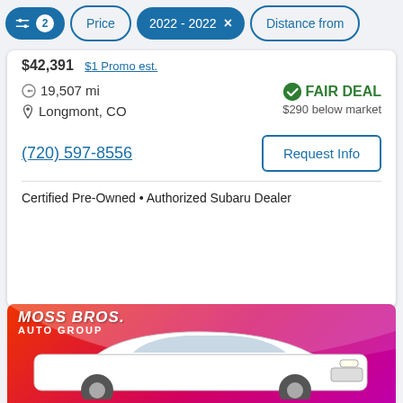Filters 2 | Price | 2022 - 2022 × | Distance from
$42,391  $1 Promo est.
19,507 mi
Longmont, CO
FAIR DEAL  $290 below market
(720) 597-8556
Request Info
Certified Pre-Owned • Authorized Subaru Dealer
[Figure (photo): White Subaru SUV photographed at Moss Bros Auto Group dealership, with a red and pink branded background showing the dealer logo.]